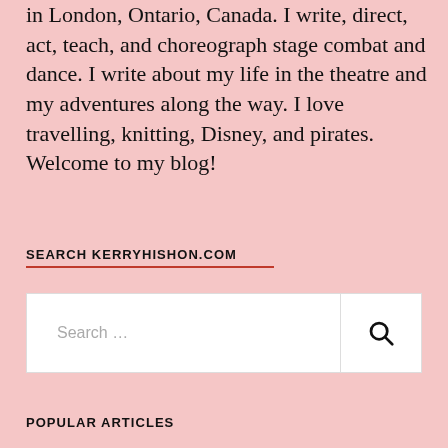in London, Ontario, Canada. I write, direct, act, teach, and choreograph stage combat and dance. I write about my life in the theatre and my adventures along the way. I love travelling, knitting, Disney, and pirates. Welcome to my blog!
SEARCH KERRYHISHON.COM
Search …
POPULAR ARTICLES